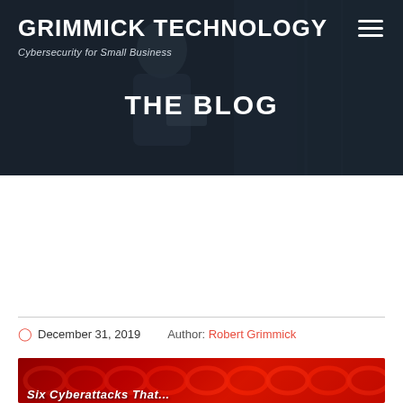GRIMMICK TECHNOLOGY
Cybersecurity for Small Business
THE BLOG
[Figure (photo): Hero banner with a woman holding a tablet in a dark server room background]
Six Cyberattacks That Shaped the Decade
December 31, 2019   Author: Robert Grimmick
[Figure (photo): Red chain-link background image with text 'Six Cyberattacks That...' overlaid in white italic font]